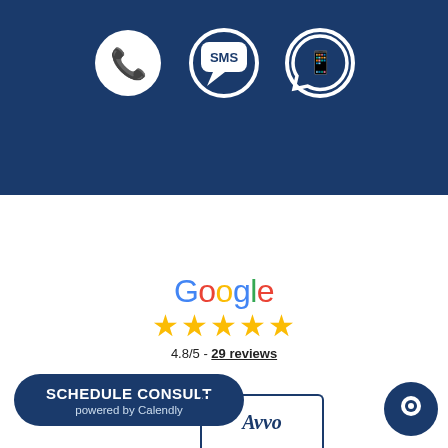[Figure (infographic): Dark navy blue banner with three white communication icons: a phone handset in a circle, an SMS speech bubble, and a WhatsApp-style phone in a speech bubble.]
[Figure (logo): Google logo in multicolor letters with five gold stars below and text '4.8/5 - 29 reviews']
4.8/5 - 29 reviews
SCHEDULE CONSULT powered by Calendly
[Figure (logo): Avvo logo in italic serif font inside a bordered card at bottom]